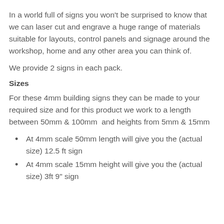In a world full of signs you won't be surprised to know that we can laser cut and engrave a huge range of materials suitable for layouts, control panels and signage around the workshop, home and any other area you can think of.
We provide 2 signs in each pack.
Sizes
For these 4mm building signs they can be made to your required size and for this product we work to a length between 50mm & 100mm  and heights from 5mm & 15mm
At 4mm scale 50mm length will give you the (actual size) 12.5 ft sign
At 4mm scale 15mm height will give you the (actual size) 3ft 9" sign